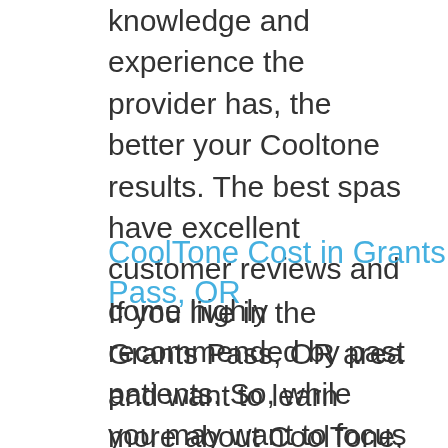knowledge and experience the provider has, the better your Cooltone results. The best spas have excellent customer reviews and come highly recommended by past patients. So, while you may want to focus on prices, you should take time to investigate and find the most reputable Cooltone provider to ensure safe, effective results.
CoolTone Cost in Grants Pass, OR
If you live in the Grants Pass, OR area and want to learn more about CoolTone, contact Admire Aesthetics. We are a leading provider of Cooltone treatments. We create the perfect customized plans to fit your budget while achieving optimal muscle building,